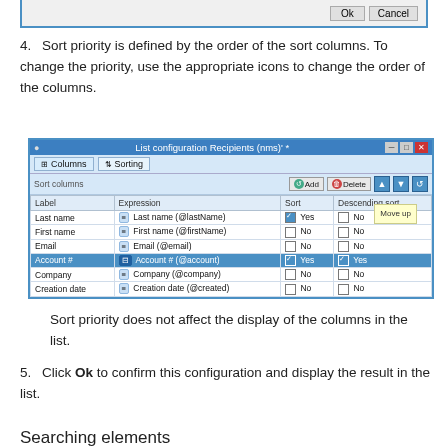[Figure (screenshot): Top fragment of a dialog box with Ok and Cancel buttons]
4. Sort priority is defined by the order of the sort columns. To change the priority, use the appropriate icons to change the order of the columns.
[Figure (screenshot): List configuration Recipients (nms) dialog showing Sorting tab with sort columns table. Columns: Label, Expression, Sort, Descending sort. Rows: Last name (Yes/No), First name (No/No), Email (No/No), Account # highlighted in blue (Yes/Yes), Company (No/No), Creation date (No/No). A Move up tooltip is visible.]
Sort priority does not affect the display of the columns in the list.
5. Click Ok to confirm this configuration and display the result in the list.
Searching elements